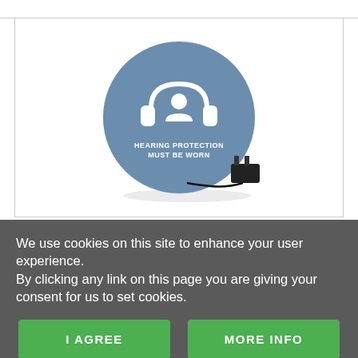[Figure (photo): A round blue hearing protection safety sign disc reading 'HEARING PROTECTION MUST BE WORN' with a headphones/earmuff icon, with a small black power adapter/charger placed beside it on a white background.]
We use cookies on this site to enhance your user experience.
By clicking any link on this page you are giving your consent for us to set cookies.
I AGREE
MORE INFO